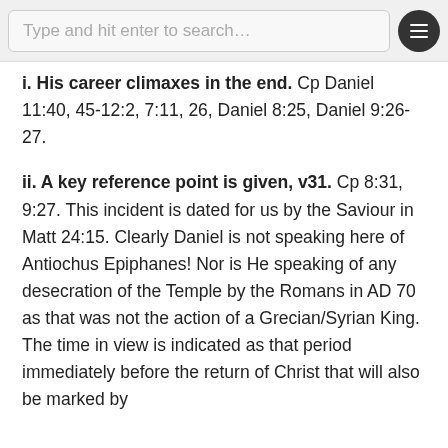Type and hit enter to search…
i. His career climaxes in the end. Cp Daniel 11:40, 45-12:2, 7:11, 26, Daniel 8:25, Daniel 9:26-27.
ii. A key reference point is given, v31. Cp 8:31, 9:27. This incident is dated for us by the Saviour in Matt 24:15. Clearly Daniel is not speaking here of Antiochus Epiphanes! Nor is He speaking of any desecration of the Temple by the Romans in AD 70 as that was not the action of a Grecian/Syrian King. The time in view is indicated as that period immediately before the return of Christ that will also be marked by